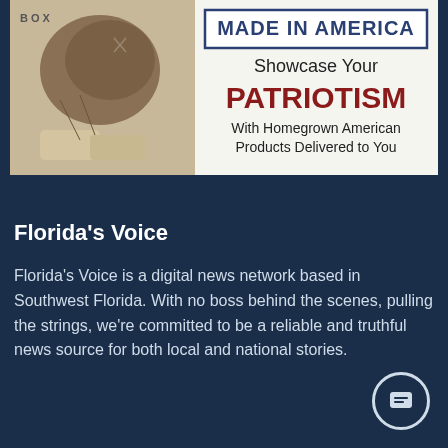[Figure (illustration): Advertisement banner: 'MADE IN AMERICA - Showcase Your PATRIOTISM With Homegrown American Products Delivered to You' with vintage baseball glove and ball imagery. Small text 'BOX' in upper left.]
Florida's Voice
Florida's Voice is a digital news network based in Southwest Florida. With no boss behind the scenes, pulling the strings, we're committed to be a reliable and truthful news source for both local and national stories.